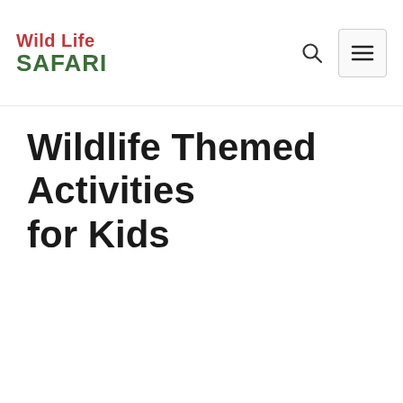Wild Life SAFARI
Wildlife Themed Activities for Kids